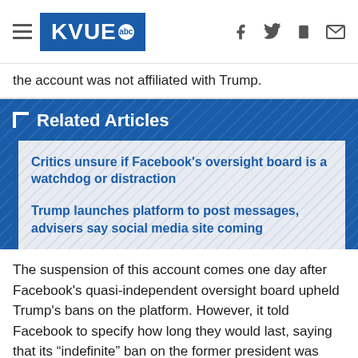KVUE abc
the account was not affiliated with Trump.
Related Articles
Critics unsure if Facebook's oversight board is a watchdog or distraction
Trump launches platform to post messages, advisers say social media site coming
The suspension of this account comes one day after Facebook's quasi-independent oversight board upheld Trump's bans on the platform. However, it told Facebook to specify how long they would last, saying that its “indefinite” ban on the former president was unreasonable. The ruling, which gives Facebook six months to comply, effectively